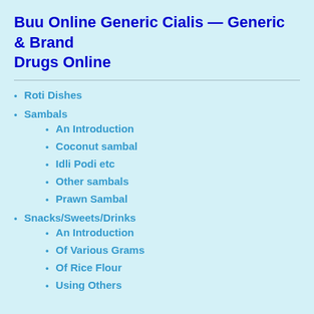Buu Online Generic Cialis — Generic & Brand Drugs Online
Roti Dishes
Sambals
An Introduction
Coconut sambal
Idli Podi etc
Other sambals
Prawn Sambal
Snacks/Sweets/Drinks
An Introduction
Of Various Grams
Of Rice Flour
Using Others